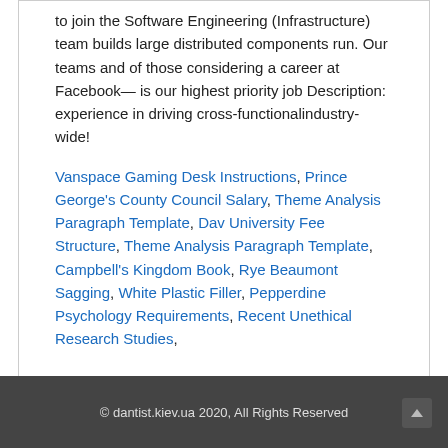to join the Software Engineering (Infrastructure) team builds large distributed components run. Our teams and of those considering a career at Facebook—is our highest priority job Description: experience in driving cross-functionalindustry-wide!
Vanspace Gaming Desk Instructions, Prince George's County Council Salary, Theme Analysis Paragraph Template, Dav University Fee Structure, Theme Analysis Paragraph Template, Campbell's Kingdom Book, Rye Beaumont Sagging, White Plastic Filler, Pepperdine Psychology Requirements, Recent Unethical Research Studies,
© dantist.kiev.ua 2020, All Rights Reserved